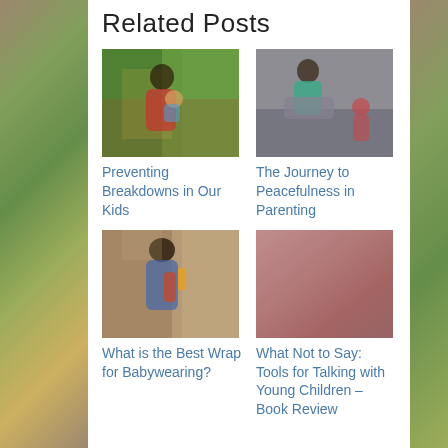Related Posts
[Figure (photo): Woman carrying baby in a carrier outdoors among trees]
Preventing Breakdowns in Our Kids
[Figure (photo): Woman in teal top doing yoga/stretching on floor with child nearby]
The Journey to Peacefulness in Parenting
[Figure (photo): Woman with short hair babywearing in a wrap indoors]
What is the Best Wrap for Babywearing?
[Figure (photo): Pink/rose gradient placeholder image]
What Not to Say: Tools for Talking with Young Children – Book Review